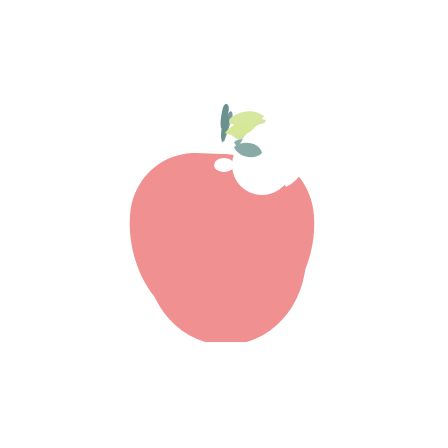[Figure (logo): A pastel pink apple logo with a bite taken out of the upper right side. The apple has a small dark teal stem at the top center, a light yellow-green leaf pointing upper right, and a muted teal-grey leaf pointing lower right. The overall style is flat, soft, and minimal on a white background.]